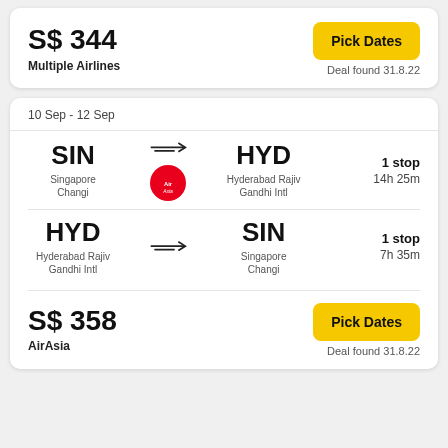S$ 344
Multiple Airlines
Pick Dates
Deal found 31.8.22
10 Sep - 12 Sep
SIN → HYD
Singapore Changi
Hyderabad Rajiv Gandhi Intl
1 stop
14h 25m
HYD → SIN
Hyderabad Rajiv Gandhi Intl
Singapore Changi
1 stop
7h 35m
S$ 358
AirAsia
Pick Dates
Deal found 31.8.22